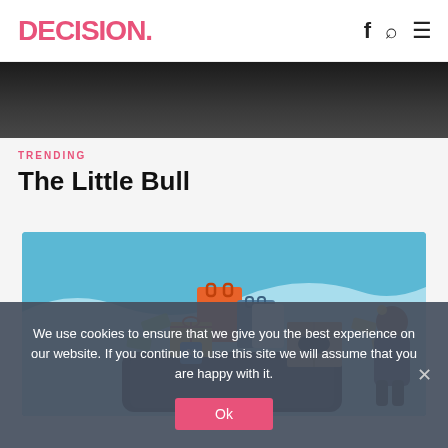DECISION. [nav icons: f, search, menu]
[Figure (photo): Dark hero image strip, showing a blurred dark background scene (possibly driving/car interior)]
TRENDING
The Little Bull
[Figure (illustration): Colorful illustration on light blue background showing a smartphone with shopping bags, packages, gift boxes, a game controller in a cardboard box, dollar bills flying around, and a person standing to the right — an online shopping themed image]
We use cookies to ensure that we give you the best experience on our website. If you continue to use this site we will assume that you are happy with it.
Ok